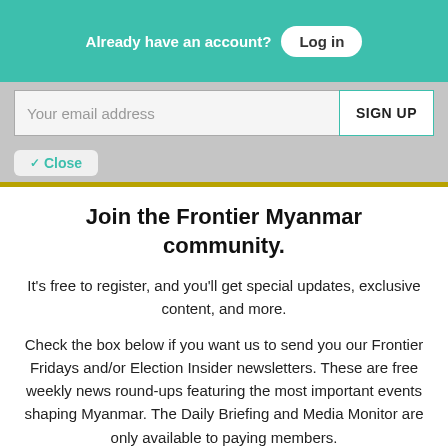Already have an account? Log in
Your email address
SIGN UP
✓ Close
Join the Frontier Myanmar community.
It's free to register, and you'll get special updates, exclusive content, and more.
Check the box below if you want us to send you our Frontier Fridays and/or Election Insider newsletters. These are free weekly news round-ups featuring the most important events shaping Myanmar. The Daily Briefing and Media Monitor are only available to paying members.